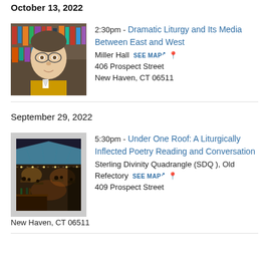October 13, 2022
[Figure (photo): Headshot of a man with glasses in front of bookshelves]
2:30pm - Dramatic Liturgy and Its Media Between East and West
Miller Hall SEE MAP 📍
406 Prospect Street
New Haven, CT 06511
September 29, 2022
[Figure (photo): Indoor venue with people gathered, tented roof, warm lighting]
5:30pm - Under One Roof: A Liturgically Inflected Poetry Reading and Conversation
Sterling Divinity Quadrangle (SDQ ), Old Refectory SEE MAP 📍
409 Prospect Street
New Haven, CT 06511